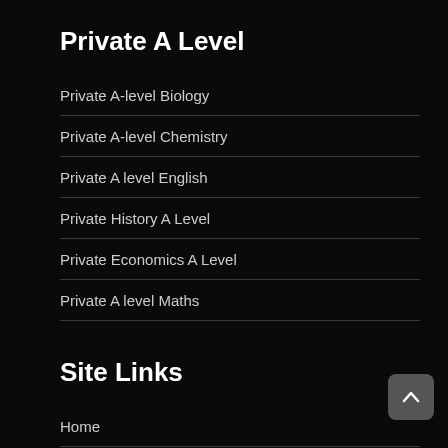Private A Level
Private A-level Biology
Private A-level Chemistry
Private A level English
Private History A Level
Private Economics A Level
Private A level Maths
Site Links
Home
About
Clients
Tutor Applications